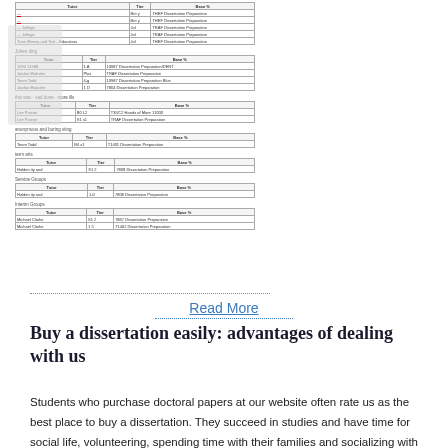[Figure (screenshot): Screenshot of multiple small tables listing tutor names, tiers, and dissertation preparation services]
Read More
Buy a dissertation easily: advantages of dealing with us
Students who purchase doctoral papers at our website often rate us as the best place to buy a dissertation. They succeed in studies and have time for social life, volunteering, spending time with their families and socializing with their friends. Jan 24, · In